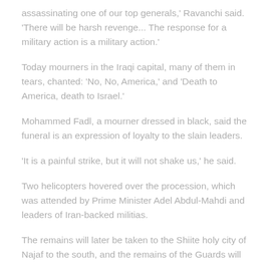assassinating one of our top generals,' Ravanchi said. 'There will be harsh revenge... The response for a military action is a military action.'
Today mourners in the Iraqi capital, many of them in tears, chanted: 'No, No, America,' and 'Death to America, death to Israel.'
Mohammed Fadl, a mourner dressed in black, said the funeral is an expression of loyalty to the slain leaders.
'It is a painful strike, but it will not shake us,' he said.
Two helicopters hovered over the procession, which was attended by Prime Minister Adel Abdul-Mahdi and leaders of Iran-backed militias.
The remains will later be taken to the Shiite holy city of Najaf to the south, and the remains of the Guards will